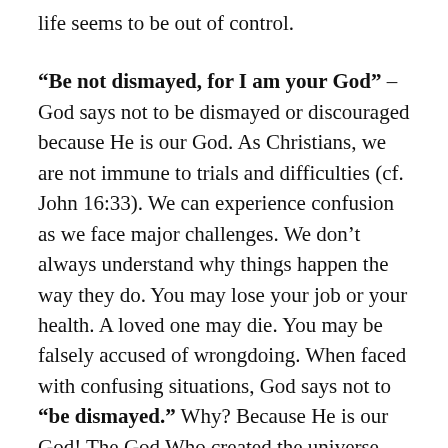life seems to be out of control.
“Be not dismayed, for I am your God” – God says not to be dismayed or discouraged because He is our God. As Christians, we are not immune to trials and difficulties (cf. John 16:33). We can experience confusion as we face major challenges. We don’t always understand why things happen the way they do. You may lose your job or your health. A loved one may die. You may be falsely accused of wrongdoing. When faced with confusing situations, God says not to “be dismayed.” Why? Because He is our God! The God Who created the universe with His spoken Word is in charge (Genesis 1). Nothing is too hard for Him (Jeremiah 32:17).